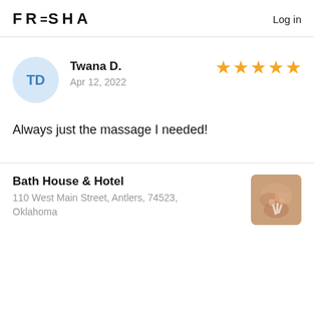FRESHA   Log in
TD
Twana D.
Apr 12, 2022
[Figure (other): Five gold star rating icons]
Always just the massage I needed!
Bath House & Hotel
110 West Main Street, Antlers, 74523, Oklahoma
[Figure (photo): Photo of hands performing a massage or spa treatment]